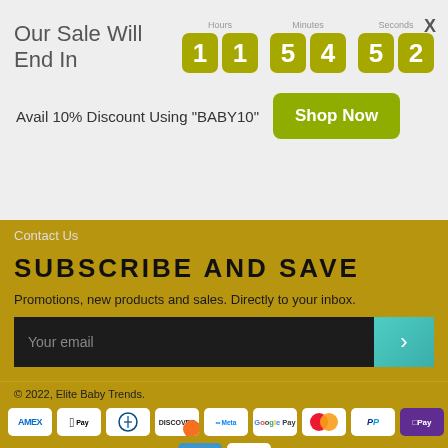Our Sale Will End In   1 1 : 5 4 : 5 2
Avail 10% Discount Using "BABY10"
Shop Now
Contact Us
SUBSCRIBE AND SAVE
Promotions, new products and sales. Directly to your inbox.
Your email
© 2022, Elite Baby Trends.
[Figure (other): Payment method icons: AMEX, Apple Pay, Diners Club, Discover, Meta Pay, Google Pay, Mastercard, PayPal, OPay, Venmo, Visa]